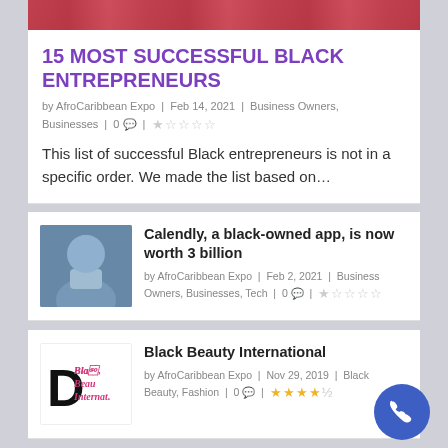[Figure (photo): Cropped top image showing people in colorful clothing, red/pink background]
15 MOST SUCCESSFUL BLACK ENTREPRENEURS
by AfroCaribbean Expo | Feb 14, 2021 | Business Owners, Businesses | 0 💬 | ★☆☆☆☆
This list of successful Black entrepreneurs is not in a specific order. We made the list based on…
[Figure (photo): Thumbnail of a man in light blue shirt, arms open, smiling]
Calendly, a black-owned app, is now worth 3 billion
by AfroCaribbean Expo | Feb 2, 2021 | Business Owners, Businesses, Tech | 0 💬 | ★☆☆☆☆
[Figure (logo): Black Beauty International logo with stylized D and italic pink text]
Black Beauty International
by AfroCaribbean Expo | Nov 29, 2019 | Black Beauty, Fashion | 0 💬 | ★★★★½